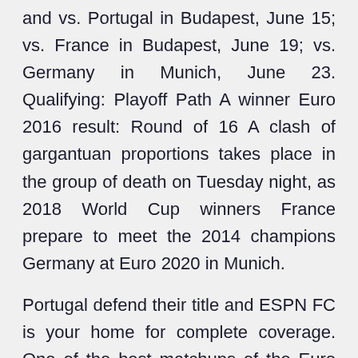and vs. Portugal in Budapest, June 15; vs. France in Budapest, June 19; vs. Germany in Munich, June 23. Qualifying: Playoff Path A winner Euro 2016 result: Round of 16 A clash of gargantuan proportions takes place in the group of death on Tuesday night, as 2018 World Cup winners France prepare to meet the 2014 champions Germany at Euro 2020 in Munich.
Portugal defend their title and ESPN FC is your home for complete coverage. One of the best matchups of the Euro 2020 group stage is on Tuesday as France travel to Munich to take on Germany in Group F. The two sides are joined in Group F with Hungary and Portugal, the France and Germany conclude the first round of Euro 2020 fixtures when they meet at the Allianz Arena on Tuesday at 8pm (UK time). In what can only be described as the toughest group across Europe